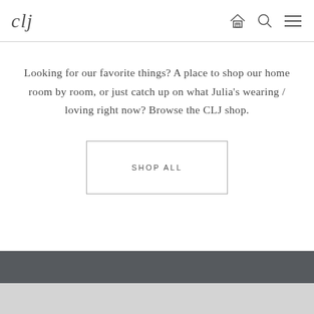clj
Looking for our favorite things? A place to shop our home room by room, or just catch up on what Julia's wearing / loving right now? Browse the CLJ shop.
SHOP ALL